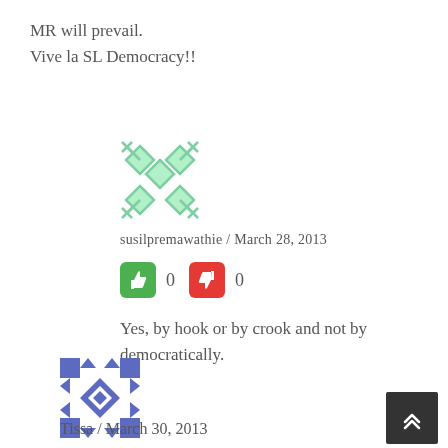MR will prevail.
Vive la SL Democracy!!
[Figure (illustration): Green geometric avatar icon with diamond/cross pattern]
susilpremawathie / March 28, 2013
[Figure (infographic): Green thumbs-up button showing 0 votes, red thumbs-down button showing 0 votes]
Yes, by hook or by crook and not by democratically.
[Figure (illustration): Blue/dark geometric avatar icon with diamond/arrow pattern]
Tissa / March 30, 2013